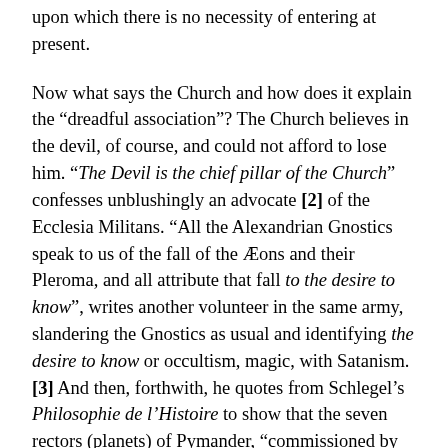upon which there is no necessity of entering at present.
Now what says the Church and how does it explain the “dreadful association”? The Church believes in the devil, of course, and could not afford to lose him. “The Devil is the chief pillar of the Church” confesses unblushingly an advocate [2] of the Ecclesia Militans. “All the Alexandrian Gnostics speak to us of the fall of the Æons and their Pleroma, and all attribute that fall to the desire to know”, writes another volunteer in the same army, slandering the Gnostics as usual and identifying the desire to know or occultism, magic, with Satanism. [3] And then, forthwith, he quotes from Schlegel’s Philosophie de l’Histoire to show that the seven rectors (planets) of Pymander, “commissioned by God to contain the phenomenal world in their seven circles, lost in love with their own beauty, [4] came to admire themselves with such intensity that owing to this proud self-adulation they finally fell.”